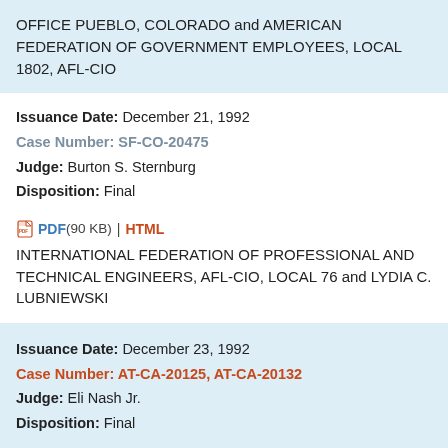OFFICE PUEBLO, COLORADO and AMERICAN FEDERATION OF GOVERNMENT EMPLOYEES, LOCAL 1802, AFL-CIO
Issuance Date: December 21, 1992
Case Number: SF-CO-20475
Judge: Burton S. Sternburg
Disposition: Final
PDF (90 KB) | HTML
INTERNATIONAL FEDERATION OF PROFESSIONAL AND TECHNICAL ENGINEERS, AFL-CIO, LOCAL 76 and LYDIA C. LUBNIEWSKI
Issuance Date: December 23, 1992
Case Number: AT-CA-20125, AT-CA-20132
Judge: Eli Nash Jr.
Disposition: Final